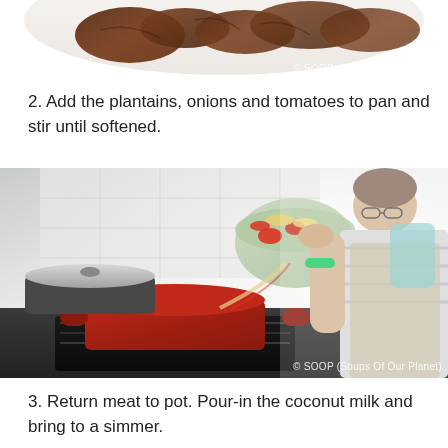[Figure (photo): Top portion of a plate with cooked meat, bottom of the photo, watermark reads © SOOP (Soups Of Our Planet)]
2. Add the plantains, onions and tomatoes to pan and stir until softened.
[Figure (photo): A child pouring vegetables (plantains, onions, tomatoes) from a bowl into a red dutch oven on a stovetop in a kitchen. Watermark reads © SOOP (Soups Of Our Planet)]
3. Return meat to pot. Pour-in the coconut milk and bring to a simmer.